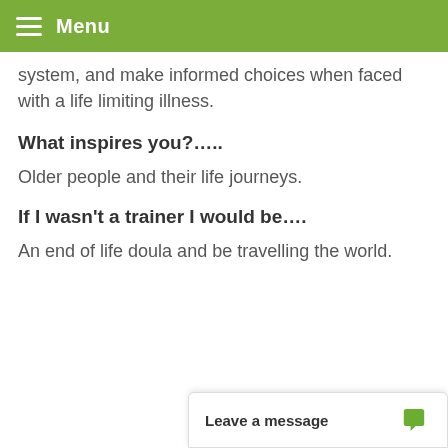Menu
system, and make informed choices when faced with a life limiting illness.
What inspires you?.....
Older people and their life journeys.
If I wasn't a trainer I would be….
An end of life doula and be travelling the world.
Leave a message